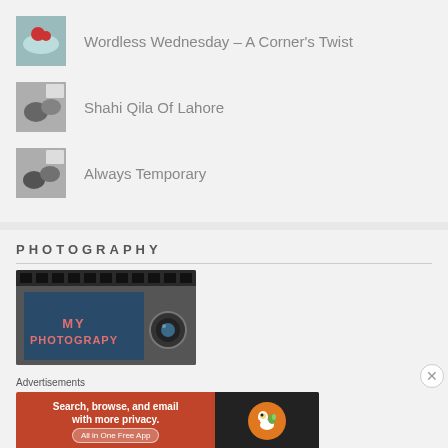[Figure (photo): Thumbnail image of food item with red strawberry]
Wordless Wednesday – A Corner's Twist
[Figure (photo): Black and white thumbnail close-up photo]
Shahi Qila Of Lahore
[Figure (photo): Black and white thumbnail close-up photo]
Always Temporary
PHOTOGRAPHY
[Figure (photo): My Photography camera image with film strip]
Advertisements
[Figure (screenshot): DuckDuckGo advertisement banner: Search, browse, and email with more privacy. All in One Free App.]